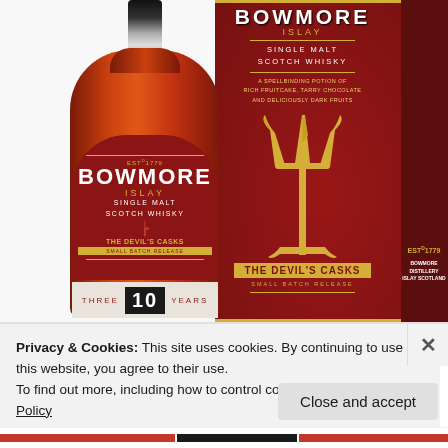[Figure (photo): Bowmore The Devil's Casks 10 Years Islay Single Malt Scotch Whisky bottle and red box packaging. The dark red/crimson bottle label reads BOWMORE ISLAY SINGLE MALT SCOTCH WHISKY THE DEVIL'S CASKS SMALL BATCH RELEASE with a trident symbol, and '10 YEARS' at the bottom. The matching red box shows BOWMORE ISLAY SINGLE MALT SCOTCH WHISKY, a large golden trident, and THE DEVIL'S CASKS SMALL BATCH RELEASE. The side of the box shows EST.1779 BOWMORE DISTILLERY ISLAY SCOTLAND.]
Privacy & Cookies: This site uses cookies. By continuing to use this website, you agree to their use.
To find out more, including how to control cookies, see here: Cookie Policy
Close and accept